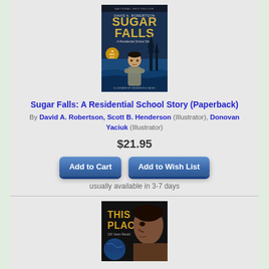[Figure (illustration): Book cover of Sugar Falls: A Residential School Story showing a young Indigenous child with a dark blue background with trees and water]
Sugar Falls: A Residential School Story (Paperback)
By David A. Robertson, Scott B. Henderson (Illustrator), Donovan Yaciuk (Illustrator)
$21.95
Add to Cart
Add to Wish List
usually available in 3-7 days
[Figure (illustration): Partial book cover of 'This Place' showing a young person's face and colorful background]